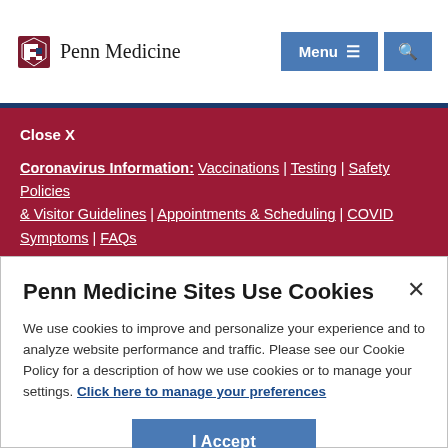Penn Medicine | Menu | Search
Close X
Coronavirus Information: Vaccinations | Testing | Safety Policies & Visitor Guidelines | Appointments & Scheduling | COVID Symptoms | FAQs
Penn Medicine Sites Use Cookies
We use cookies to improve and personalize your experience and to analyze website performance and traffic. Please see our Cookie Policy for a description of how we use cookies or to manage your settings. Click here to manage your preferences
I Accept